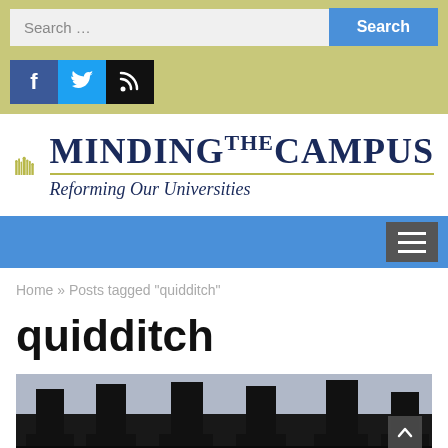[Figure (screenshot): Search bar with input field labeled 'Search ...' and a blue 'Search' button]
[Figure (screenshot): Social media icon bar with Facebook, Twitter, and RSS icons]
[Figure (logo): Minding The Campus logo with book icons and tagline 'Reforming Our Universities']
[Figure (screenshot): Blue navigation bar with hamburger menu button]
Home » Posts tagged "quidditch"
quidditch
[Figure (photo): Dark silhouette photograph of classical columns viewed from below against a light sky, with a back-to-top arrow button in the bottom right]